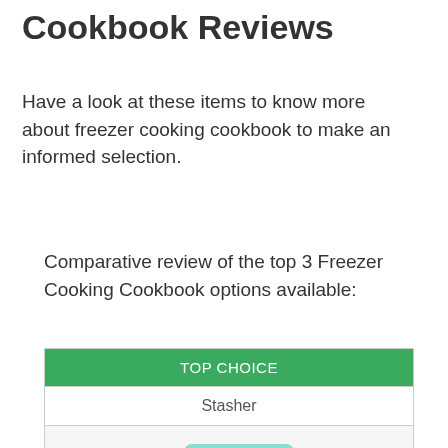Cookbook Reviews
Have a look at these items to know more about freezer cooking cookbook to make an informed selection.
Comparative review of the top 3 Freezer Cooking Cookbook options available:
| TOP CHOICE |
| --- |
| Stasher |
| [product image] |